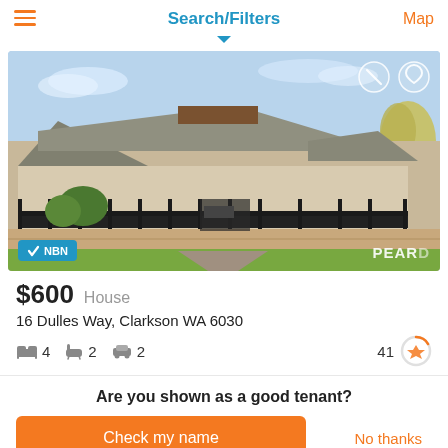Search/Filters
[Figure (photo): Exterior photo of a suburban house with grey roof, black iron fence, brick retaining wall, paved driveway, and lawn. NBN badge in bottom left, PEAR watermark bottom right.]
$600  House
16 Dulles Way, Clarkson WA 6030
4 bedrooms, 2 bathrooms, 2 car spaces, score 41
Are you shown as a good tenant?
Check my name   No thanks